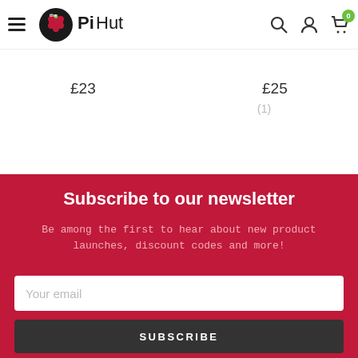The Pi Hut navigation bar with hamburger menu, logo, search, account and cart icons (0 items)
£23
£25
(1)
Subscribe to our newsletter
Be among the first to hear about new product launches, discount codes and more!
Your email
SUBSCRIBE